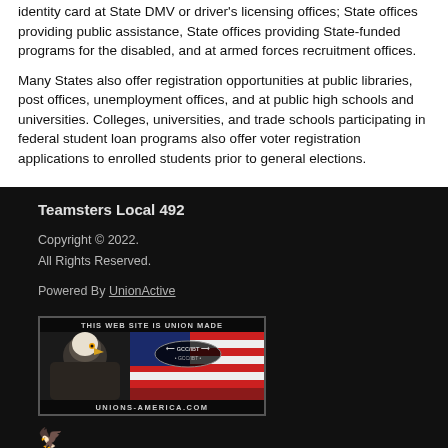identity card at State DMV or driver's licensing offices; State offices providing public assistance, State offices providing State-funded programs for the disabled, and at armed forces recruitment offices.
Many States also offer registration opportunities at public libraries, post offices, unemployment offices, and at public high schools and universities. Colleges, universities, and trade schools participating in federal student loan programs also offer voter registration applications to enrolled students prior to general elections.
Teamsters Local 492
Copyright © 2022.
All Rights Reserved.
Powered By UnionActive
[Figure (illustration): Union Made badge showing a bald eagle with American flag background, GCC/IBT oval logo, number 1218-M, and text UNIONS-AMERICA.COM]